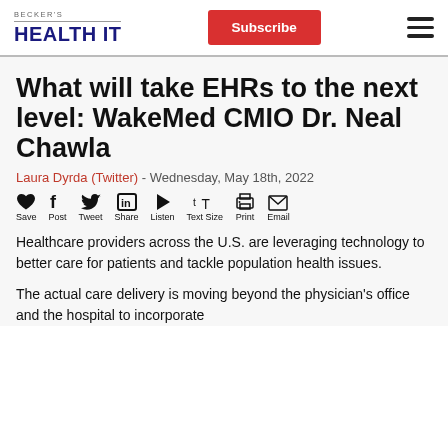BECKER'S HEALTH IT | Subscribe | Menu
What will take EHRs to the next level: WakeMed CMIO Dr. Neal Chawla
Laura Dyrda (Twitter) - Wednesday, May 18th, 2022
[Figure (infographic): Social sharing toolbar with icons: Save (heart), Post (f), Tweet (bird), Share (in), Listen (play), Text Size (tT), Print (printer), Email (envelope)]
Healthcare providers across the U.S. are leveraging technology to better care for patients and tackle population health issues.
The actual care delivery is moving beyond the physician's office and the hospital to incorporate